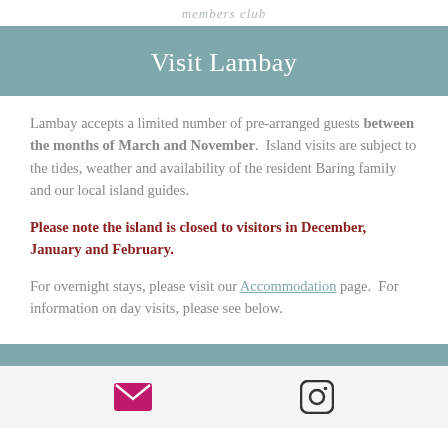members club
Visit Lambay
Lambay accepts a limited number of pre-arranged guests between the months of March and November. Island visits are subject to the tides, weather and availability of the resident Baring family and our local island guides.
Please note the island is closed to visitors in December, January and February.
For overnight stays, please visit our Accommodation page. For information on day visits, please see below.